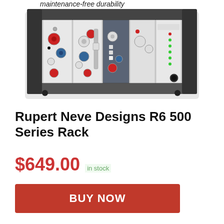maintenance-free durability
[Figure (photo): Rupert Neve Designs R6 500 Series Rack unit with multiple audio modules inserted, showing knobs, faders, and LED indicators on a metal rack chassis.]
Rupert Neve Designs R6 500 Series Rack
$649.00 in stock
BUY NOW